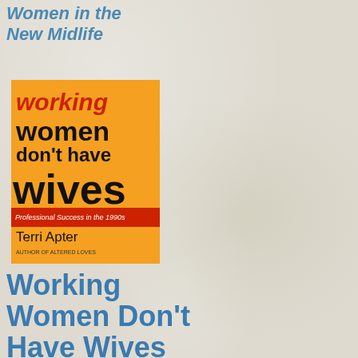Women in the New Midlife
[Figure (illustration): Book cover for 'Working Women Don't Have Wives: Professional Success in the 1990s' by Terri Apter. Orange background with the title text in black and red, with a red subtitle bar and author name.]
Working Women Don't Have Wives
Professional Success in the 1990's